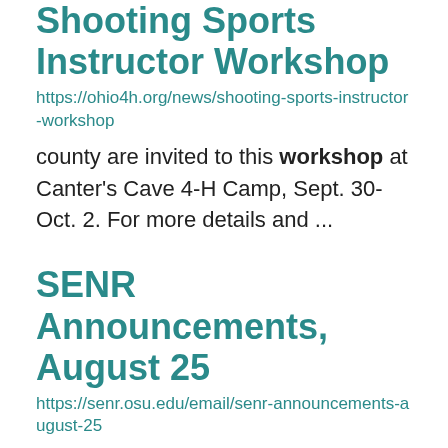Shooting Sports Instructor Workshop
https://ohio4h.org/news/shooting-sports-instructor-workshop
county are invited to this workshop at Canter's Cave 4-H Camp, Sept. 30-Oct. 2. For more details and ...
SENR Announcements, August 25
https://senr.osu.edu/email/senr-announcements-august-25
Coal in Ohio  debuts this week on campus. Photo caption: Farewell Transmission research and curatorial ... collaboratively with educators, learners, and community members to explore urban greenspaces as